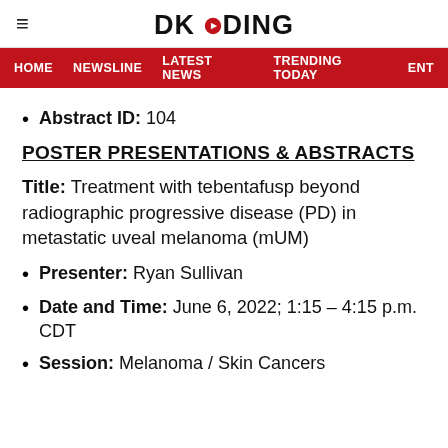DKODING
HOME  NEWSLINE  LATEST NEWS  TRENDING TODAY  ENT
Abstract ID: 104
POSTER PRESENTATIONS & ABSTRACTS
Title: Treatment with tebentafusp beyond radiographic progressive disease (PD) in metastatic uveal melanoma (mUM)
Presenter: Ryan Sullivan
Date and Time: June 6, 2022; 1:15 – 4:15 p.m. CDT
Session: Melanoma / Skin Cancers